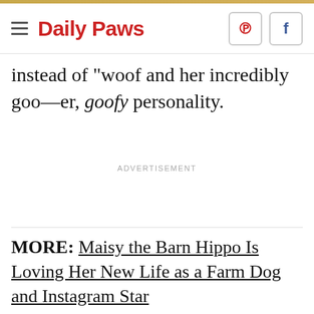Daily Paws
instead of "woof and her incredibly goo—er, goofy personality.
ADVERTISEMENT
MORE: Maisy the Barn Hippo Is Loving Her New Life as a Farm Dog and Instagram Star